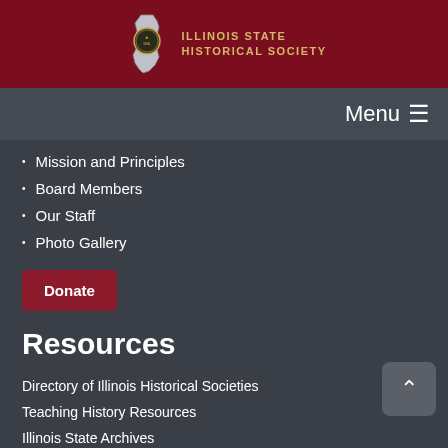[Figure (logo): Illinois State Historical Society logo with state outline and seal]
Menu ≡
Mission and Principles
Board Members
Our Staff
Photo Gallery
Donate
Resources
Directory of Illinois Historical Societies
Teaching History Resources
Illinois State Archives
Abraham Lincoln Presidential Library and Museum
Illinois Digital Archives (IDA)
Illinois State Library
More Links